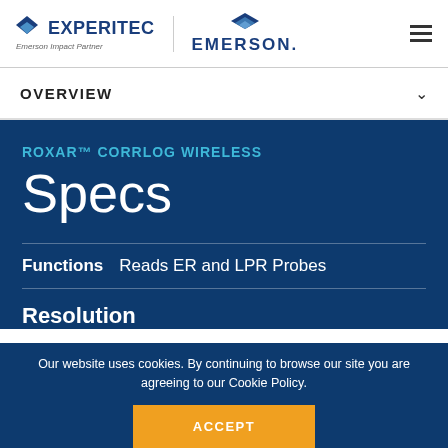EXPERITEC | Emerson Impact Partner | EMERSON.
OVERVIEW
ROXAR™ CORRLOG WIRELESS
Specs
Functions   Reads ER and LPR Probes
Resolution
Our website uses cookies. By continuing to browse our site you are agreeing to our Cookie Policy.
ACCEPT